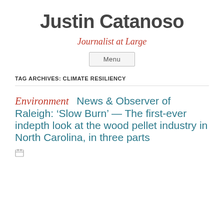Justin Catanoso
Journalist at Large
Menu
TAG ARCHIVES: CLIMATE RESILIENCY
Environment  News & Observer of Raleigh: 'Slow Burn' — The first-ever indepth look at the wood pellet industry in North Carolina, in three parts